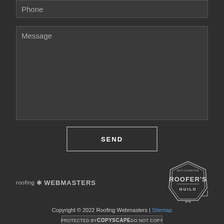[Figure (screenshot): Phone input field with placeholder text 'Phone' on dark background]
[Figure (screenshot): Message textarea with placeholder text 'Message' on dark background]
SEND
[Figure (logo): Roofing Webmasters logo with star/asterisk icon]
[Figure (logo): Roofer's Guild nationwide badge/seal]
Copyright © 2022 Roofing Webmasters | Sitemap
PROTECTED BY COPYSCAPE DO NOT COPY